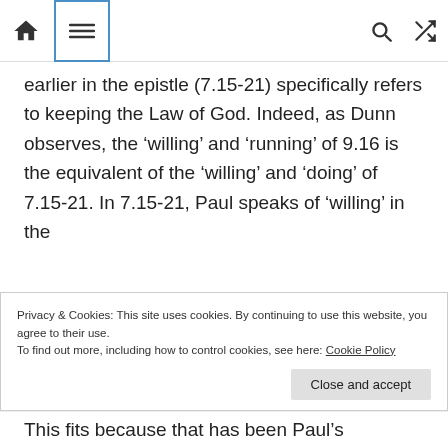navigation bar with home, menu, search, and shuffle icons
earlier in the epistle (7.15-21) specifically refers to keeping the Law of God. Indeed, as Dunn observes, the ‘willing’ and ‘running’ of 9.16 is the equivalent of the ‘willing’ and ‘doing’ of 7.15-21. In 7.15-21, Paul speaks of ‘willing’ in the
Privacy & Cookies: This site uses cookies. By continuing to use this website, you agree to their use.
To find out more, including how to control cookies, see here: Cookie Policy
This fits because that has been Paul’s